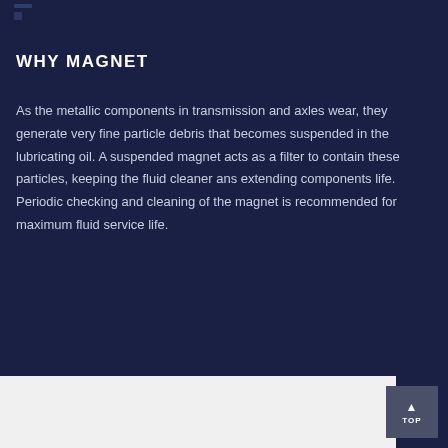[Figure (other): Dark navy decorative top bar with small icon fragments visible]
WHY MAGNET
As the metallic components in transmission and axles wear, they generate very fine particle debris that becomes suspended in the lubricating oil. A suspended magnet acts as a filter to contain these particles, keeping the fluid cleaner ans extending components life. Periodic checking and cleaning of the magnet is recommended for maximum fluid service life.
TOP